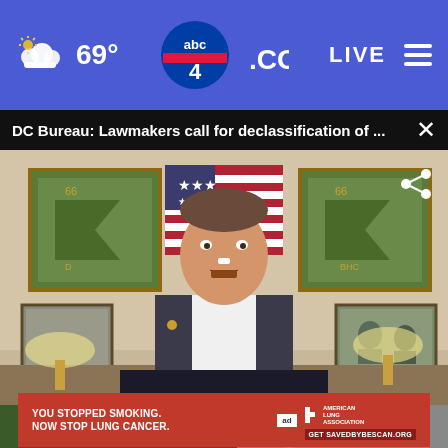[Figure (screenshot): ABC4.com news website header with blue background, weather showing 69°F with cloud icon, ABC4 logo in center, LIVE button and hamburger menu on right]
DC Bureau: Lawmakers call for declassification of ...
[Figure (photo): Video player showing a man in a dark suit and white shirt speaking, seated in an office with military flags, American flag, and framed photos on wall behind him]
[Figure (screenshot): Advertisement banner: YOU STOPPED SMOKING. NOW STOP LUNG CANCER. American Lung Association ad with Get SAVEDBYBESCAN.ORG call to action]